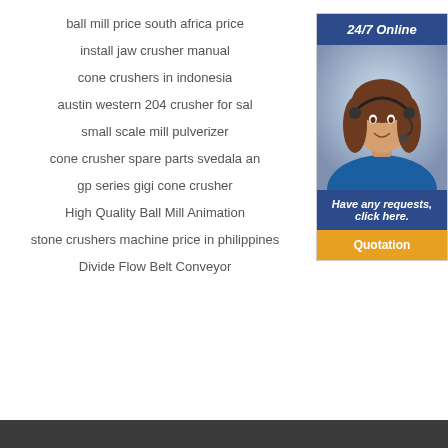ball mill price south africa price
install jaw crusher manual
cone crushers in indonesia
austin western 204 crusher for sal
small scale mill pulverizer
cone crusher spare parts svedala an
gp series gigi cone crusher
High Quality Ball Mill Animation
stone crushers machine price in philippines
Divide Flow Belt Conveyor
[Figure (photo): Customer service representative woman wearing headset, smiling, with 24/7 Online header, Have any requests click here message, and Quotation button]